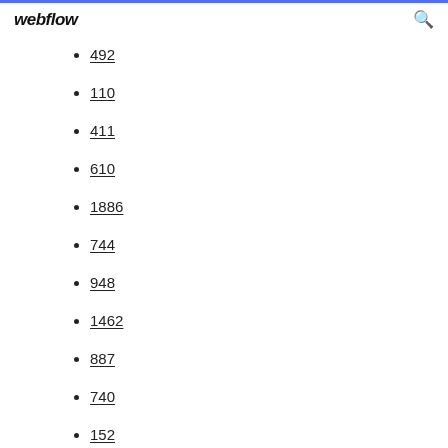webflow
492
110
411
610
1886
744
948
1462
887
740
152
822